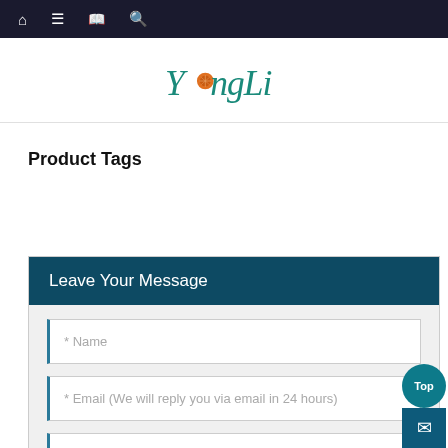Navigation bar with home, menu, book, and search icons
[Figure (logo): YongLi stylized cursive logo with orange circular decorative element replacing the 'o' in Yong]
Product Tags
Leave Your Message
* Name
* Email (We will reply you via email in 24 hours)